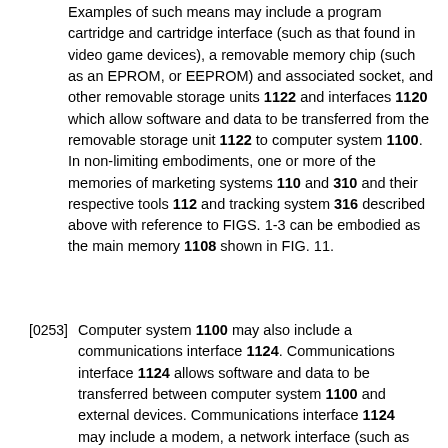Examples of such means may include a program cartridge and cartridge interface (such as that found in video game devices), a removable memory chip (such as an EPROM, or EEPROM) and associated socket, and other removable storage units 1122 and interfaces 1120 which allow software and data to be transferred from the removable storage unit 1122 to computer system 1100. In non-limiting embodiments, one or more of the memories of marketing systems 110 and 310 and their respective tools 112 and tracking system 316 described above with reference to FIGS. 1-3 can be embodied as the main memory 1108 shown in FIG. 11.
[0253] Computer system 1100 may also include a communications interface 1124. Communications interface 1124 allows software and data to be transferred between computer system 1100 and external devices. Communications interface 1124 may include a modem, a network interface (such as an Ethernet card), a communications port, a PCMCIA slot and card, or the like. Software and data transferred via communications interface